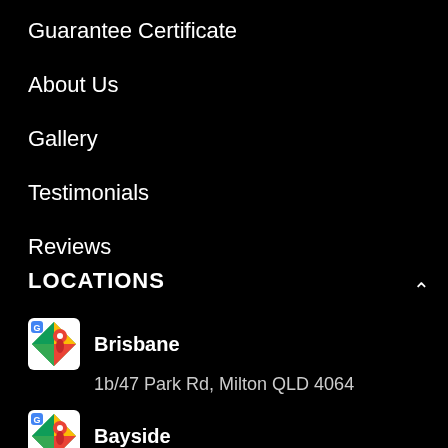Guarantee Certificate
About Us
Gallery
Testimonials
Reviews
LOCATIONS
Brisbane
1b/47 Park Rd, Milton QLD 4064
Bayside